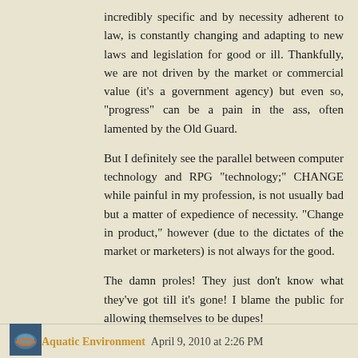incredibly specific and by necessity adherent to law, is constantly changing and adapting to new laws and legislation for good or ill. Thankfully, we are not driven by the market or commercial value (it's a government agency) but even so, "progress" can be a pain in the ass, often lamented by the Old Guard.
But I definitely see the parallel between computer technology and RPG "technology;" CHANGE while painful in my profession, is not usually bad but a matter of expedience of necessity. "Change in product," however (due to the dictates of the market or marketers) is not always for the good.
The damn proles! They just don't know what they've got till it's gone! I blame the public for allowing themselves to be dupes!
: )
Reply
Aquatic Environment  April 9, 2010 at 2:26 PM